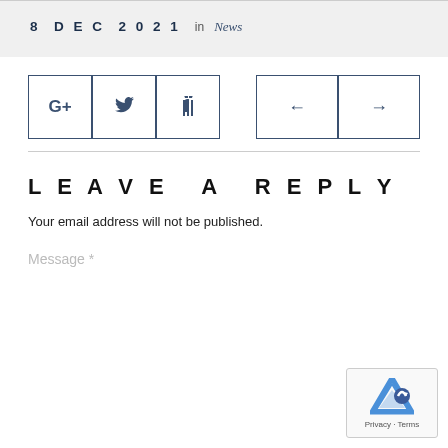8 DEC 2021  in  News
[Figure (other): Social share icons: Google+, Twitter, Facebook, and navigation arrows left and right]
LEAVE A REPLY
Your email address will not be published.
Message *
[Figure (other): reCAPTCHA widget with logo and Privacy - Terms text]